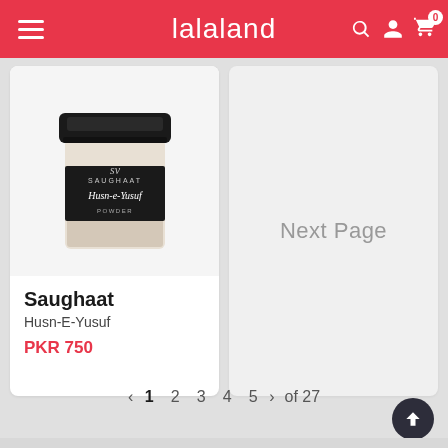lalaland
[Figure (photo): A small glass jar of Husn-e-Yusuf powder with a black lid and a black label with cursive/script branding, containing beige/cream colored powder]
Saughaat
Husn-E-Yusuf
PKR 750
Next Page
< 1 2 3 4 5 > of 27